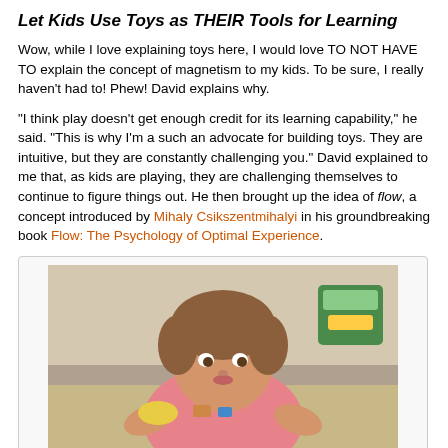Let Kids Use Toys as THEIR Tools for Learning
Wow, while I love explaining toys here, I would love TO NOT HAVE TO explain the concept of magnetism to my kids.  To be sure, I really haven't had to! Phew!  David explains why.
"I think play doesn't get enough credit for its learning capability," he said.  "This is why I'm a such an advocate for building toys.  They are intuitive, but they are constantly challenging you."  David explained to me that, as kids are playing, they are challenging themselves to continue to figure things out. He then brought up the idea of flow, a concept introduced by Mihaly Csikszentmihalyi in his groundbreaking book Flow: The Psychology of Optimal Experience.
[Figure (photo): A young child with reddish-brown hair wearing a pink top, leaning forward as if concentrating on playing with toys on a surface, photographed outdoors.]